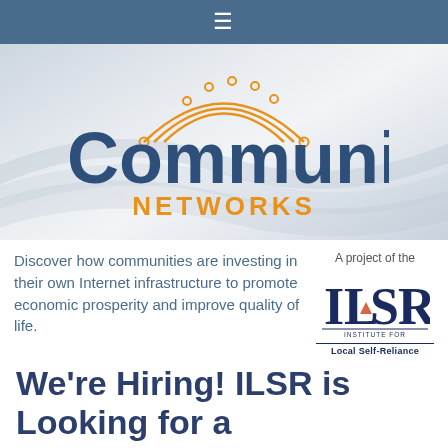≡
[Figure (logo): Community Networks logo with orange arc/network graphic above text 'Community' in dark blue and 'NETWORKS' in orange]
Discover how communities are investing in their own Internet infrastructure to promote economic prosperity and improve quality of life.
[Figure (logo): ILSR - Institute for Local Self-Reliance logo with 'A project of the' text above it]
We're Hiring! ILSR is Looking for a Communications